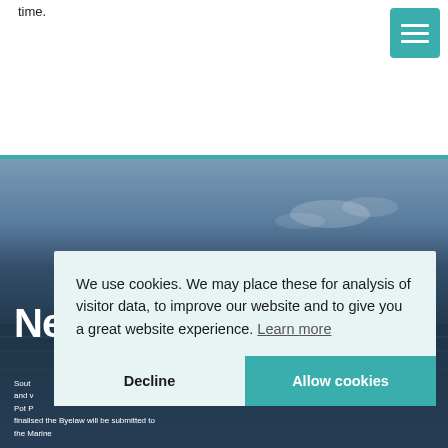time.
[Figure (screenshot): Teal/green hamburger menu button with three horizontal white bars on a teal background]
[Figure (photo): Ocean or coastal seascape with dark blue sky and water, serving as a hero background image]
Ne
Sout and v Pot P finalised the Byelaw will be submitted to the Marine
We use cookies. We may place these for analysis of visitor data, to improve our website and to give you a great website experience. Learn more
Decline
Allow cookies